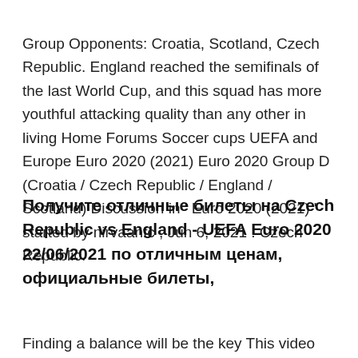Group Opponents: Croatia, Scotland, Czech Republic. England reached the semifinals of the last World Cup, and this squad has more youthful attacking quality than any other in living Home Forums Soccer cups UEFA and Europe Euro 2020 (2021) Euro 2020 Group D (Croatia / Czech Republic / England / Scotland) Discussion in ' Euro 2020 (2021) ' started by nirvaanfc , Jun 6, 2021 . Czech Republic.
Получите отличные билеты на Czech Republic vs England - UEFA Euro 2020 22/06/2021 по отличным ценам, официальные билеты,
Finding a balance will be the key This video shows you